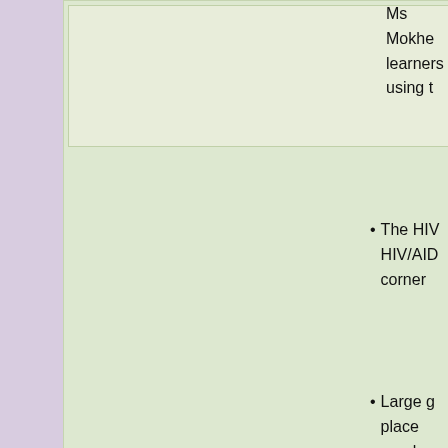[Figure (photo): Light-colored rectangular image placeholder area at top of green content box]
Ms Mokhe... learners... using t...
The HIV... HIV/AID... corner...
Large g... place regular...
An area of co... discussions. ... the seriousn...